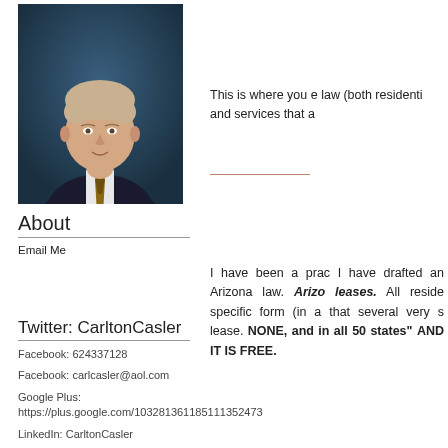[Figure (photo): Professional headshot of Carlton Casler, a man in a dark suit with a patterned tie, against a blue background.]
About
Email Me
Twitter: CarltonCasler
Facebook: 624337128
Facebook: carlcasler@aol.com
Google Plus:
https://plus.google.com/103281361185111352473
LinkedIn: CarltonCasler
Twitter: CarltonCasler
This is where you e law (both residenti and services that a
I have been a prac I have drafted an Arizona law. Arizona leases. All reside specific form (in a that several very s lease. NONE, and in all 50 states" AND IT IS FREE.